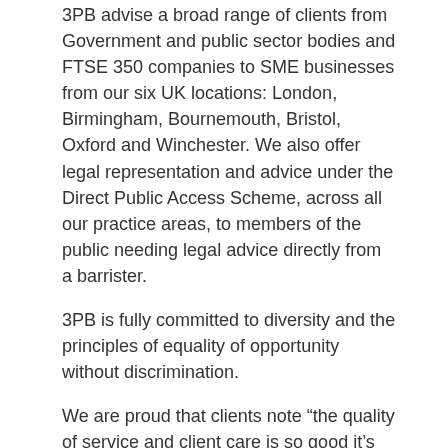3PB advise a broad range of clients from Government and public sector bodies and FTSE 350 companies to SME businesses from our six UK locations: London, Birmingham, Bournemouth, Bristol, Oxford and Winchester. We also offer legal representation and advice under the Direct Public Access Scheme, across all our practice areas, to members of the public needing legal advice directly from a barrister.
3PB is fully committed to diversity and the principles of equality of opportunity without discrimination.
We are proud that clients note “the quality of service and client care is so good it’s one of the key reasons we keep going back to them” and “the clerks are proactive and easy to work with”. Other comments include ‘[3PB] “contains a vast array of talent with all bases covered” and “[the clerks are] the best in the business”. Read more here.